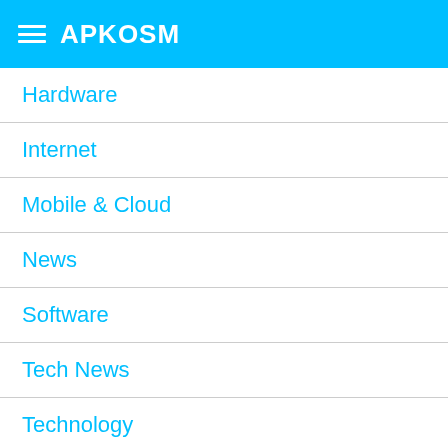APKOSM
Hardware
Internet
Mobile & Cloud
News
Software
Tech News
Technology
Wearables
Web Design
Web Development